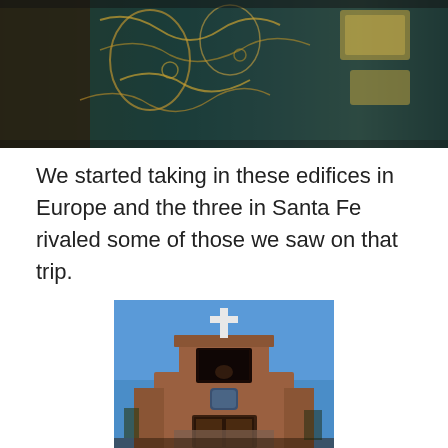[Figure (photo): Interior decorative door or wall with ornate gold patterns on teal/blue background, partially visible]
We started taking in these edifices in Europe and the three in Santa Fe rivaled some of those we saw on that trip.
[Figure (photo): Adobe church building with white cross on top against a bright blue sky, Santa Fe style architecture with wooden entrance doors]